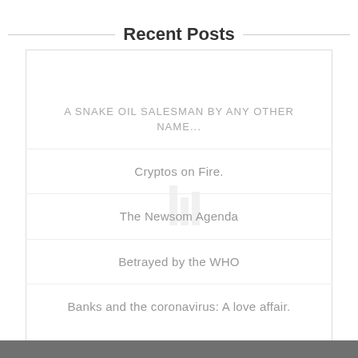Recent Posts
A SNAKE OIL SALESMAN BY ANY OTHER NAME...
Cryptos on Fire.
The Newsom Agenda
Betrayed by the WHO
Banks and the coronavirus: A love affair.